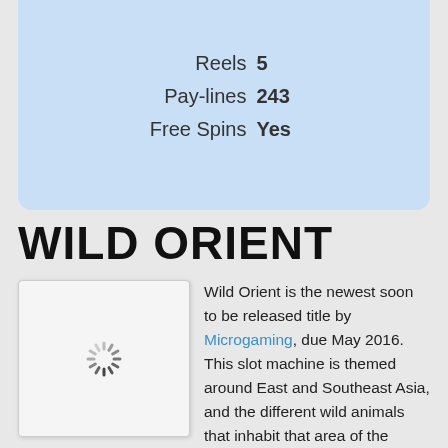| Property | Value |
| --- | --- |
| Reels | 5 |
| Pay-lines | 243 |
| Free Spins | Yes |
WILD ORIENT
[Figure (photo): Loading placeholder image with spinner for Wild Orient slot game]
Wild Orient is the newest soon to be released title by Microgaming, due May 2016. This slot machine is themed around East and Southeast Asia, and the different wild animals that inhabit that area of the world, like elephants, tigers, pandas, monkeys and such.
The visual design of this game is of a fairly good quality,